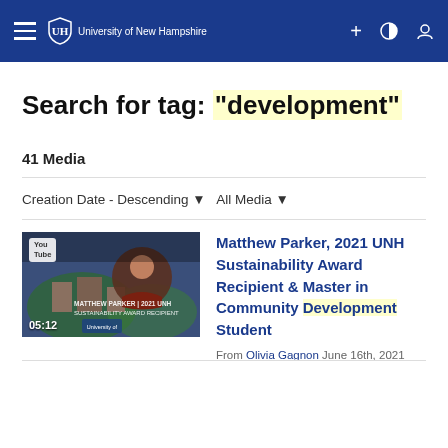University of New Hampshire
Search for tag: "development"
41 Media
Creation Date - Descending   All Media
[Figure (screenshot): Video thumbnail showing Matthew Parker, a man, with aerial campus view in background. Duration 05:12. YouTube badge in top left.]
Matthew Parker, 2021 UNH Sustainability Award Recipient & Master in Community Development Student
From Olivia Gagnon June 16th, 2021